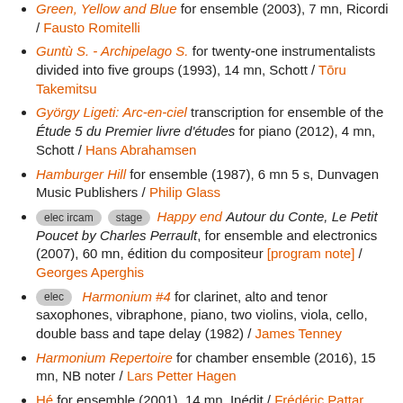Green, Yellow and Blue for ensemble (2003), 7 mn, Ricordi / Fausto Romitelli
Guntù S. - Archipelago S. for twenty-one instrumentalists divided into five groups (1993), 14 mn, Schott / Tōru Takemitsu
György Ligeti: Arc-en-ciel transcription for ensemble of the Étude 5 du Premier livre d'études for piano (2012), 4 mn, Schott / Hans Abrahamsen
Hamburger Hill for ensemble (1987), 6 mn 5 s, Dunvagen Music Publishers / Philip Glass
[elec ircam] [stage] Happy end Autour du Conte, Le Petit Poucet by Charles Perrault, for ensemble and electronics (2007), 60 mn, édition du compositeur [program note] / Georges Aperghis
[elec] Harmonium #4 for clarinet, alto and tenor saxophones, vibraphone, piano, two violins, viola, cello, double bass and tape delay (1982) / James Tenney
Harmonium Repertoire for chamber ensemble (2016), 15 mn, NB noter / Lars Petter Hagen
Hé for ensemble (2001), 14 mn, Inédit / Frédéric Pattar
Heinrich Schütz / 8 Psaumes de Becker / No 11 for string quartet, double bass, wind quintet, harp, piano or orchestra